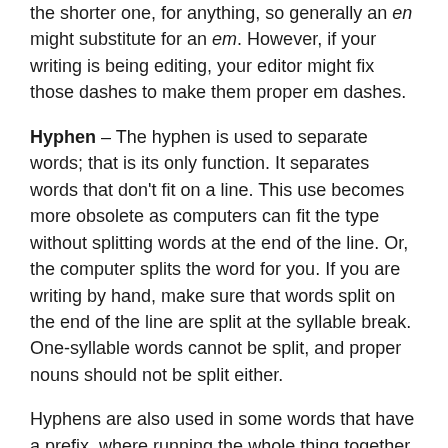the shorter one, for anything, so generally an en might substitute for an em. However, if your writing is being editing, your editor might fix those dashes to make them proper em dashes.
Hyphen – The hyphen is used to separate words; that is its only function. It separates words that don't fit on a line. This use becomes more obsolete as computers can fit the type without splitting words at the end of the line. Or, the computer splits the word for you. If you are writing by hand, make sure that words split on the end of the line are split at the syllable break. One-syllable words cannot be split, and proper nouns should not be split either.
Hyphens are also used in some words that have a prefix, where running the whole thing together might be unclear. There may be two vowels in a row, for example.